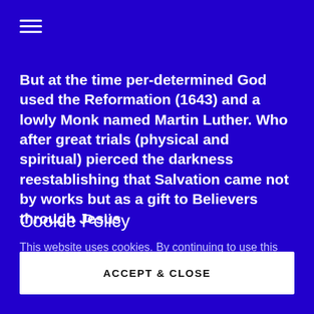☰
But at the time per-determined God used the Reformation (1643) and a lowly Monk named Martin Luther. Who after great trials (physical and spiritual) pierced the darkness reestablishing that Salvation came not by works but as a gift to Believers through Jesus
Cookie Policy
This website uses cookies. By continuing to use this site, you accept our use of cookies.
ACCEPT & CLOSE